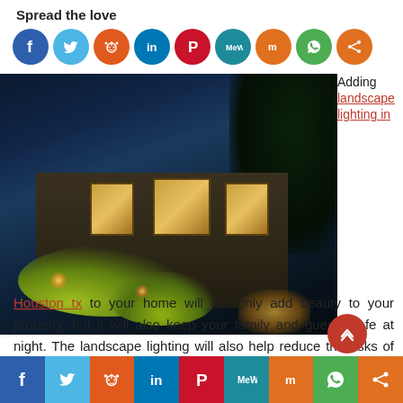Spread the love
[Figure (illustration): Social media sharing icons row: Facebook (blue), Twitter (light blue), Reddit (orange), LinkedIn (dark blue), Pinterest (dark red), MeWe (teal), Mix (orange), WhatsApp (green), Share (orange)]
[Figure (photo): Nighttime photo of a stone house with landscape lighting illuminating the facade and garden plants, with warm window glow and pathway lights visible]
Adding landscape lighting in
Houston tx to your home will not only add beauty to your property, but it will also keep your family and guests safe at night. The landscape lighting will also help reduce the risks of falling in the
[Figure (illustration): Bottom social media sharing bar: Facebook, Twitter, Reddit, LinkedIn, Pinterest, MeWe, Mix, WhatsApp, Share buttons]